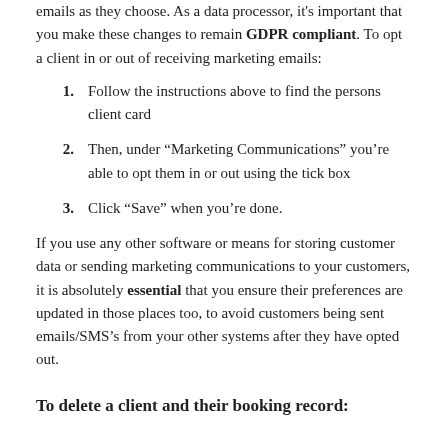emails as they choose. As a data processor, it's important that you make these changes to remain GDPR compliant. To opt a client in or out of receiving marketing emails:
1. Follow the instructions above to find the persons client card
2. Then, under “Marketing Communications” you’re able to opt them in or out using the tick box
3. Click “Save” when you’re done.
If you use any other software or means for storing customer data or sending marketing communications to your customers, it is absolutely essential that you ensure their preferences are updated in those places too, to avoid customers being sent emails/SMS’s from your other systems after they have opted out.
To delete a client and their booking record: